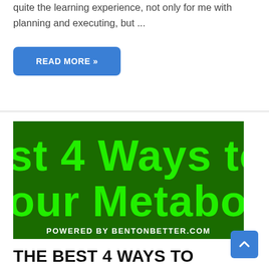quite the learning experience, not only for me with planning and executing, but ...
READ MORE »
[Figure (illustration): Dark green background image with bright green text reading 'Best 4 Ways to Improve your Metabolism' and banner at bottom reading 'POWERED BY BENTONBETTER.COM']
THE BEST 4 WAYS TO IMPROVE YOUR